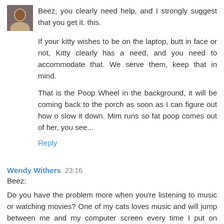[Figure (photo): Small avatar photo of a person]
Beez, you clearly need help, and I strongly suggest that you get it. this.
If your kitty wishes to be on the laptop, butt in face or not, Kitty clearly has a need, and you need to accommodate that. We serve them, keep that in mind.
That is the Poop Wheel in the background, it will be coming back to the porch as soon as I can figure out how o slow it down. Mim runs so fat poop comes out of her, you see...
Reply
Wendy Withers  23:16
Beez:
Do you have the problem more when you're listening to music or watching movies? One of my cats loves music and will jump between me and my computer screen every time I put on iTunes or she hears certain actors and actresses she likes (lately it's Eddie Izzard).